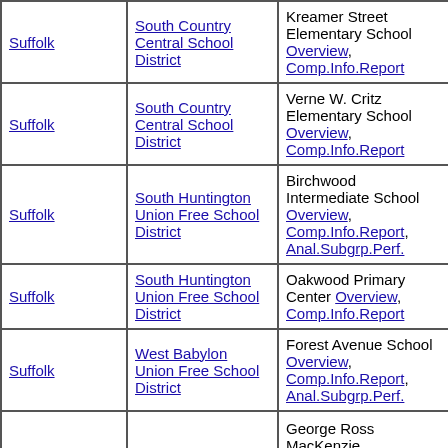| County | District | School | Enrollment | Percent | Col6 |
| --- | --- | --- | --- | --- | --- |
| Suffolk | South Country Central School District | Kreamer Street Elementary School Overview, Comp.Info.Report | 360 | 0.0% | 33 |
| Suffolk | South Country Central School District | Verne W. Critz Elementary School Overview, Comp.Info.Report | 430 | 0.0% | 27 |
| Suffolk | South Huntington Union Free School District | Birchwood Intermediate School Overview, Comp.Info.Report, Anal.Subgrp.Perf. | 720 | 10.0% | 20 |
| Suffolk | South Huntington Union Free School District | Oakwood Primary Center Overview, Comp.Info.Report | 757 | 15.5% | 20 |
| Suffolk | West Babylon Union Free School District | Forest Avenue School Overview, Comp.Info.Report, Anal.Subgrp.Perf. | 421 | 4.5% | 23 |
|  |  | George Ross MacKenzie … |  |  |  |